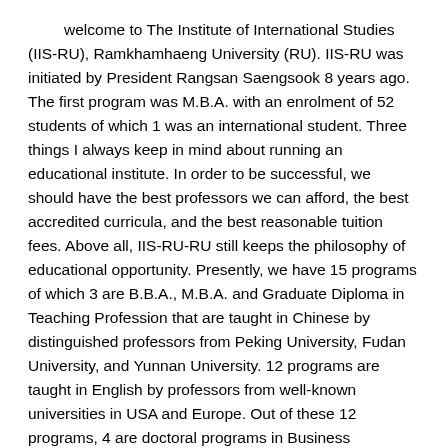welcome to The Institute of International Studies (IIS-RU), Ramkhamhaeng University (RU). IIS-RU was initiated by President Rangsan Saengsook 8 years ago. The first program was M.B.A. with an enrolment of 52 students of which 1 was an international student. Three things I always keep in mind about running an educational institute. In order to be successful, we should have the best professors we can afford, the best accredited curricula, and the best reasonable tuition fees. Above all, IIS-RU-RU still keeps the philosophy of educational opportunity. Presently, we have 15 programs of which 3 are B.B.A., M.B.A. and Graduate Diploma in Teaching Profession that are taught in Chinese by distinguished professors from Peking University, Fudan University, and Yunnan University. 12 programs are taught in English by professors from well-known universities in USA and Europe. Out of these 12 programs, 4 are doctoral programs in Business Administration, Political Science, Educational Administration, and Law.
"Is IIS-RU successful?" There are many variables involved. Three of them are the success of our graduates, the growing number of enrolment, and the popularity of IIS-RU-RU. Considering these three indicators, we are successful in turning out productive people, which